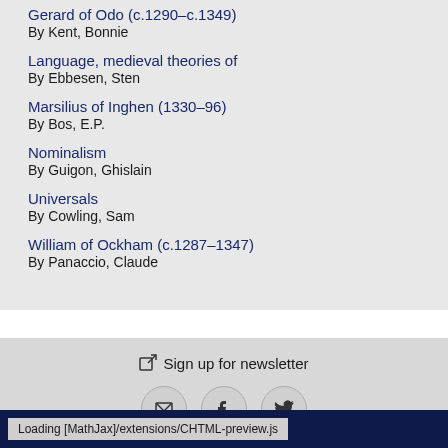Gerard of Odo (c.1290–c.1349)
By Kent, Bonnie
Language, medieval theories of
By Ebbesen, Sten
Marsilius of Inghen (1330–96)
By Bos, E.P.
Nominalism
By Guigon, Ghislain
Universals
By Cowling, Sam
William of Ockham (c.1287–1347)
By Panaccio, Claude
Sign up for newsletter
Loading [MathJax]/extensions/CHTML-preview.js